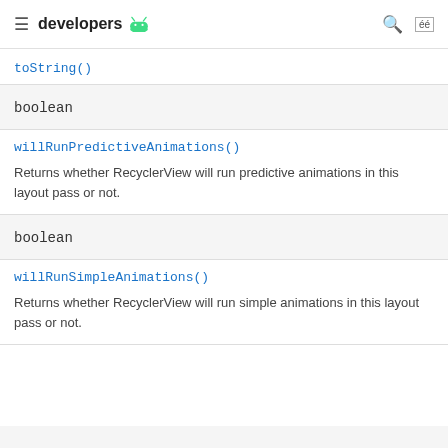developers
toString()
boolean
willRunPredictiveAnimations()
Returns whether RecyclerView will run predictive animations in this layout pass or not.
boolean
willRunSimpleAnimations()
Returns whether RecyclerView will run simple animations in this layout pass or not.